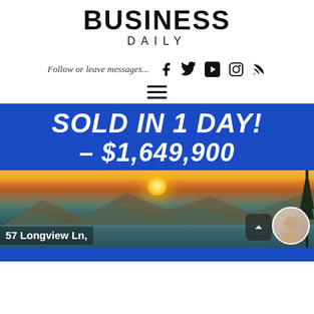BUSINESS DAILY
Follow or leave messages...
[Figure (screenshot): Social media icons: Facebook, Twitter, YouTube, Instagram, RSS feed]
[Figure (illustration): Hamburger menu icon (three horizontal lines)]
[Figure (photo): Real estate advertisement: SOLD IN 1 DAY! – $1,649,900. Photo of a scenic lake at sunset with mountains. Text: 57 Longview Ln,]